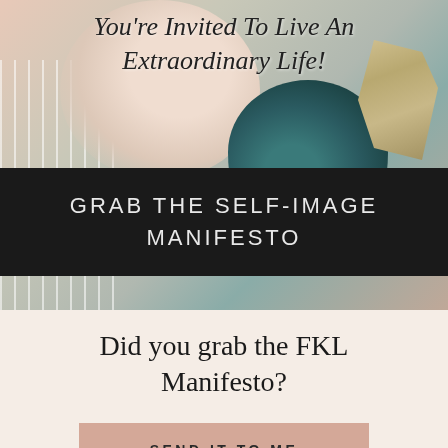[Figure (photo): Woman holding a teal designer handbag with gold hardware, wearing a white striped outfit. Soft lifestyle/fashion photography background.]
You’re Invited To Live An Extraordinary Life!
GRAB THE SELF-IMAGE MANIFESTO
Did you grab the FKL Manifesto?
SEND IT TO ME